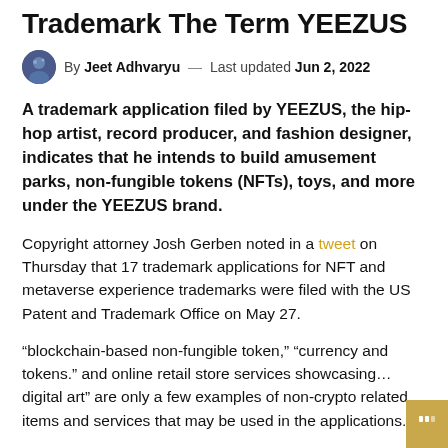Trademark The Term YEEZUS
By Jeet Adhvaryu — Last updated Jun 2, 2022
A trademark application filed by YEEZUS, the hip-hop artist, record producer, and fashion designer, indicates that he intends to build amusement parks, non-fungible tokens (NFTs), toys, and more under the YEEZUS brand.
Copyright attorney Josh Gerben noted in a tweet on Thursday that 17 trademark applications for NFT and metaverse experience trademarks were filed with the US Patent and Trademark Office on May 27.
“blockchain-based non-fungible token,” “currency and tokens.” and online retail store services showcasing… digital art” are only a few examples of non-crypto related items and services that may be used in the applications.